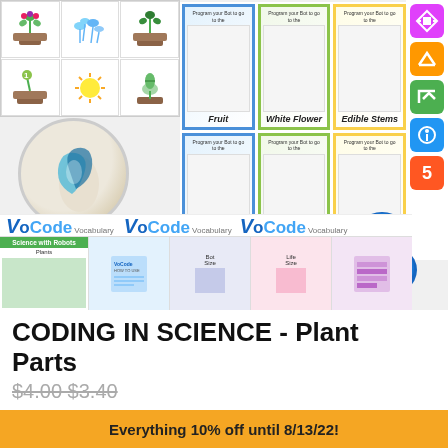[Figure (illustration): Educational product image showing plant vocabulary cards with robot coding activity. Includes flashcard grid with terms: Fruit, White Flower, Edible Stems, Flower Petals, Ovate Leaf, Flow (partially obscured). Left side shows plant life cycle images and a circular logo. Right side shows numbered/lettered activity blocks. Center-bottom shows an orange rounded rectangle with text about moveable robots, a game controller, and a blue robot character. Preview strip at bottom shows VoCode vocabulary product thumbnails.]
Practice Vocabulary with ANY Moveable Robot
© 2019 Brittany Washburn
Science with Robots Plants
VoCode Vocabulary
CODING IN SCIENCE - Plant Parts
Everything 10% off until 8/13/22!